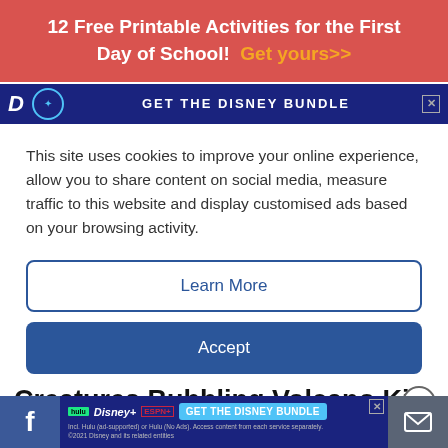12 Free Printable Activities for the First Day of School! Get yours>>
[Figure (screenshot): Disney bundle advertisement banner in dark blue with text GET THE DISNEY BUNDLE and close button]
This site uses cookies to improve your online experience, allow you to share content on social media, measure traffic to this website and display customised ads based on your browsing activity.
Learn More
Accept
Creatures Bubbling Volcano Kit
[Figure (photo): Partial view of product box for Creatures Bubbling Volcano Kit]
[Figure (screenshot): Bottom Disney bundle advertisement with Hulu, Disney+, ESPN+ logos and GET THE DISNEY BUNDLE button with fine print]